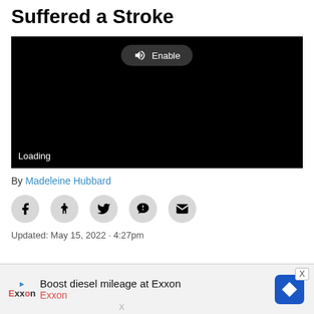Suffered a Stroke
[Figure (screenshot): Black video player with 'Enable' audio button at top center and 'Loading' text at bottom left]
By Madeleine Hubbard
[Figure (infographic): Social sharing icons: Facebook, accessibility/share, Twitter, Parler, Email]
Updated: May 15, 2022 · 4:27pm
[Figure (screenshot): Advertisement banner: Boost diesel mileage at Exxon, with Exxon logo and blue diamond navigation icon]